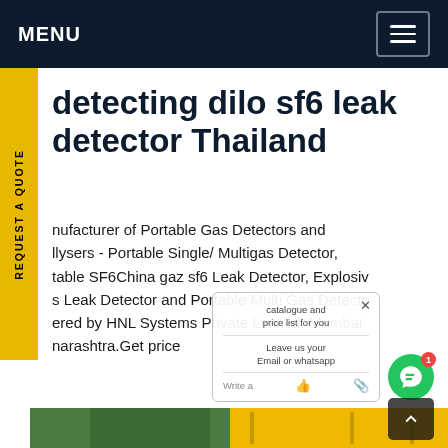MENU
detecting dilo sf6 leak detector Thailand
nufacturer of Portable Gas Detectors and llysers - Portable Single/ Multigas Detector, table SF6China gaz sf6 Leak Detector, Explosive s Leak Detector and Portable Multi Gas Detector ered by HNL Systems Private Limited, Mumbai, narashtra.Get price
[Figure (screenshot): Chat overlay popup showing 'catalogue and price list for you', 'Leave us your Email or whatsapp', and a Write/send message area with like and attachment icons. Green chat circle icon with red badge showing '1' notification.]
[Figure (photo): Outdoor photo showing green trees and a yellow industrial truck or vehicle, with Chinese text visible at the bottom.]